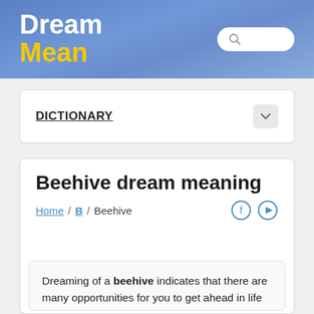Dream Mean
DICTIONARY
Beehive dream meaning
Home / B / Beehive
Dreaming of a beehive indicates that there are many opportunities for you to get ahead in life and to not let them escape from your grasp. It symbolizes hard work and the importance of teamwork. A promotion